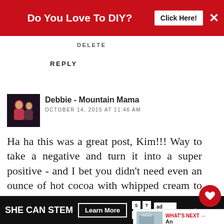[Figure (screenshot): Red advertisement banner with text 'Do You Love To DIY?' and 'Click Here!' button]
DELETE
REPLY
[Figure (photo): Small avatar photo of two people]
Debbie - Mountain Mama
OCTOBER 14, 2015 AT 11:46 AM
Ha ha this was a great post, Kim!!! Way to take a negative and turn it into a super positive - and I bet you didn't need even an ounce of hot cocoa with whipped cream to get through that day!! :)
REPLY DELETE
[Figure (screenshot): Bottom advertisement banner: SHE CAN STEM Learn More]